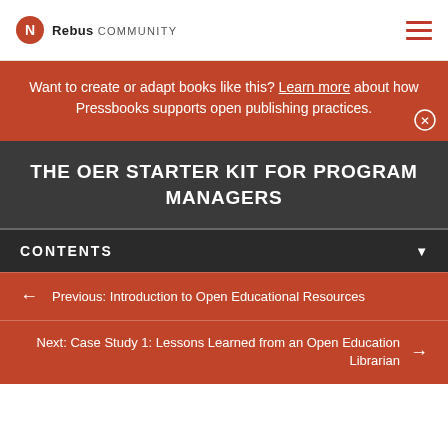Rebus COMMUNITY
Want to create or adapt books like this? Learn more about how Pressbooks supports open publishing practices.
THE OER STARTER KIT FOR PROGRAM MANAGERS
CONTENTS
Previous: Introduction to Open Educational Resources
Next: Case Study 1: Lessons Learned from an Open Education Librarian